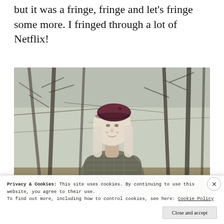but it was a fringe, fringe and let's fringe some more. I fringed through a lot of Netflix!
[Figure (photo): A woman with long silver-blonde hair wearing a dark maroon beret and plaid wrap, standing outdoors among bare winter trees, smiling at the camera.]
Privacy & Cookies: This site uses cookies. By continuing to use this website, you agree to their use.
To find out more, including how to control cookies, see here: Cookie Policy
Close and accept